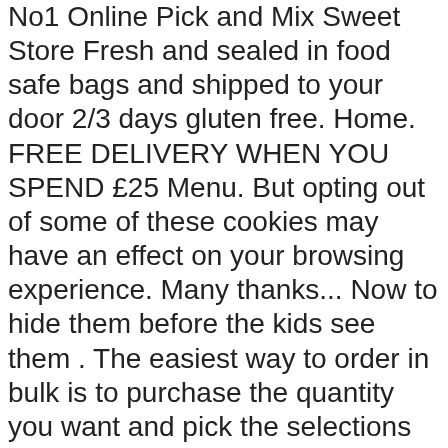No1 Online Pick and Mix Sweet Store Fresh and sealed in food safe bags and shipped to your door 2/3 days gluten free. Home. FREE DELIVERY WHEN YOU SPEND £25 Menu. But opting out of some of these cookies may have an effect on your browsing experience. Many thanks... Now to hide them before the kids see them . The easiest way to order in bulk is to purchase the quantity you want and pick the selections but put a note in the checkout comments box that you will send address details by email. However. There's something really fun about able to make your own personal choice of pick and mix, thinking about all the sweet flavours on your tongue, from sour tangy flavours like fizzy cola bottles to more gentle tastes like shrimps what fun! Tap here to view pick and mix sweet choices. Jargonelle Pears-+ 13. View Sweets. We have sweets from the 1960's, 1970's, 1980's, 1990's & all of the modern day sweets. Whether you are treating yourself or someone else, we have something for everyone. In stock in the UK. The biggest